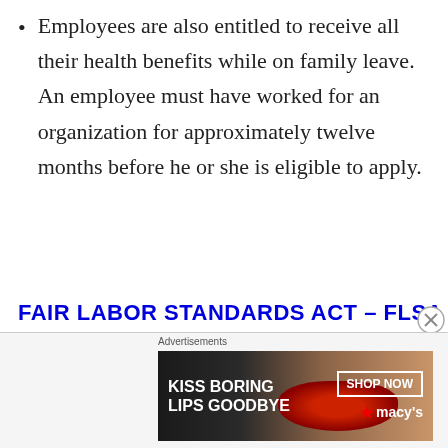Employees are also entitled to receive all their health benefits while on family leave. An employee must have worked for an organization for approximately twelve months before he or she is eligible to apply.
FAIR LABOR STANDARDS ACT – FLSA
The Fair Labor Standards Act, or FLSA, was passed by Congress back in 1938 with some significant changes made in 2004,
[Figure (other): Advertisement banner for Macy's: 'KISS BORING LIPS GOODBYE' with SHOP NOW button and Macy's star logo]